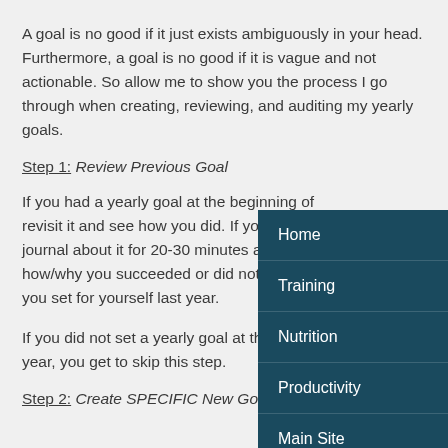A goal is no good if it just exists ambiguously in your head. Furthermore, a goal is no good if it is vague and not actionable. So allow me to show you the process I go through when creating, reviewing, and auditing my yearly goals.
Step 1: Review Previous Goal
If you had a yearly goal at the beginning of revisit it and see how you did. If you're feeli journal about it for 20-30 minutes and reall how/why you succeeded or did not succee you set for yourself last year.
If you did not set a yearly goal at the begin year, you get to skip this step.
Step 2: Create SPECIFIC New Goal
[Figure (other): Navigation menu overlay with dark teal background containing items: Home, Training, Nutrition, Productivity, Main Site]